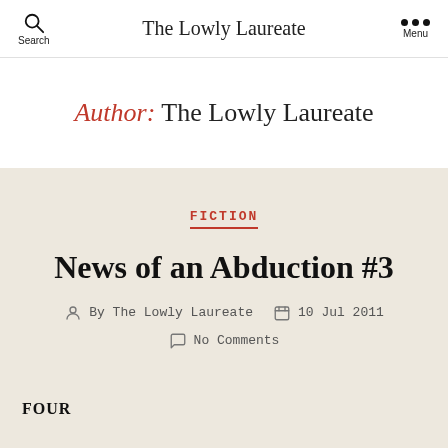The Lowly Laureate
Author: The Lowly Laureate
FICTION
News of an Abduction #3
By The Lowly Laureate  10 Jul 2011  No Comments
FOUR